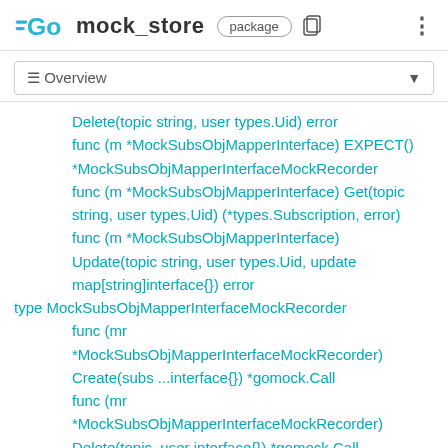GO mock_store package
≡ Overview
Delete(topic string, user types.Uid) error
func (m *MockSubsObjMapperInterface) EXPECT() *MockSubsObjMapperInterfaceMockRecorder
func (m *MockSubsObjMapperInterface) Get(topic string, user types.Uid) (*types.Subscription, error)
func (m *MockSubsObjMapperInterface) Update(topic string, user types.Uid, update map[string]interface{}) error
type MockSubsObjMapperInterfaceMockRecorder
func (mr *MockSubsObjMapperInterfaceMockRecorder) Create(subs ...interface{}) *gomock.Call
func (mr *MockSubsObjMapperInterfaceMockRecorder) Delete(topic, user interface{}) *gomock.Call